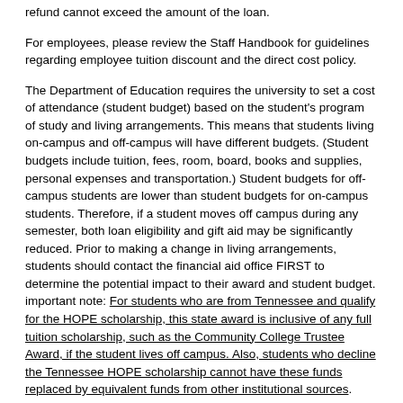refund cannot exceed the amount of the loan.
For employees, please review the Staff Handbook for guidelines regarding employee tuition discount and the direct cost policy.
The Department of Education requires the university to set a cost of attendance (student budget) based on the student's program of study and living arrangements. This means that students living on-campus and off-campus will have different budgets. (Student budgets include tuition, fees, room, board, books and supplies, personal expenses and transportation.) Student budgets for off-campus students are lower than student budgets for on-campus students. Therefore, if a student moves off campus during any semester, both loan eligibility and gift aid may be significantly reduced. Prior to making a change in living arrangements, students should contact the financial aid office FIRST to determine the potential impact to their award and student budget. important note: For students who are from Tennessee and qualify for the HOPE scholarship, this state award is inclusive of any full tuition scholarship, such as the Community College Trustee Award, if the student lives off campus. Also, students who decline the Tennessee HOPE scholarship cannot have these funds replaced by equivalent funds from other institutional sources.
Therefore, if the student declines the HOPE scholarship, the full tuition scholarship will be reduced accordingly.